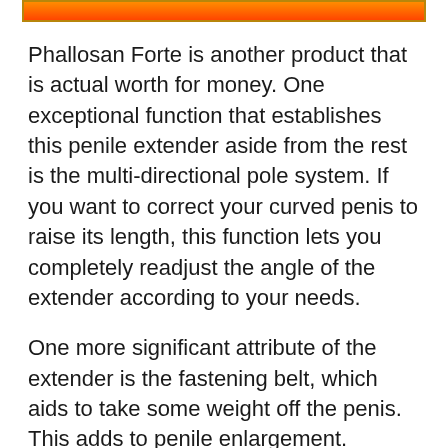[Figure (other): Horizontal orange gradient banner bar with dark border]
Phallosan Forte is another product that is actual worth for money. One exceptional function that establishes this penile extender aside from the rest is the multi-directional pole system. If you want to correct your curved penis to raise its length, this function lets you completely readjust the angle of the extender according to your needs.
One more significant attribute of the extender is the fastening belt, which aids to take some weight off the penis. This adds to penile enlargement.
Pjallosan Strength is constructed from a top notch product that is light-weight and